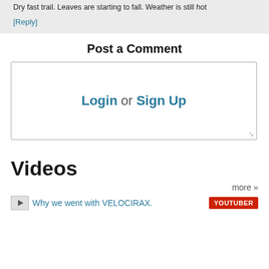Dry fast trail. Leaves are starting to fall. Weather is still hot
[Reply]
Post a Comment
[Figure (screenshot): Comment text area box with 'Login or Sign Up' links inside]
Videos
more »
Why we went with VELOCIRAX.
YOUTUBER